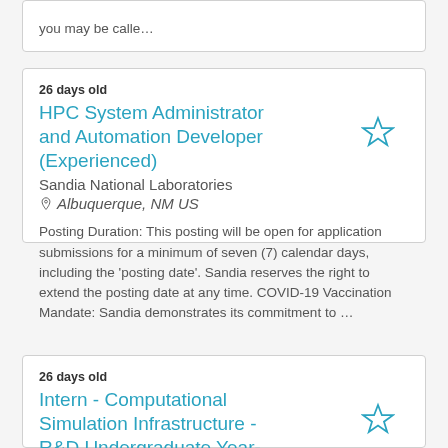you may be calle…
26 days old
HPC System Administrator and Automation Developer (Experienced)
Sandia National Laboratories
Albuquerque, NM US
Posting Duration: This posting will be open for application submissions for a minimum of seven (7) calendar days, including the 'posting date'. Sandia reserves the right to extend the posting date at any time. COVID-19 Vaccination Mandate: Sandia demonstrates its commitment to …
26 days old
Intern - Computational Simulation Infrastructure - R&D Undergraduate Year-